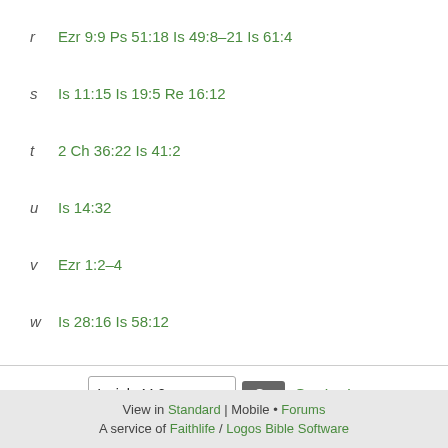r  Ezr 9:9 Ps 51:18 Is 49:8–21 Is 61:4
s  Is 11:15 Is 19:5 Re 16:12
t  2 Ch 36:22 Is 41:2
u  Is 14:32
v  Ezr 1:2–4
w  Is 28:16 Is 58:12
View in Standard | Mobile • Forums
A service of Faithlife / Logos Bible Software